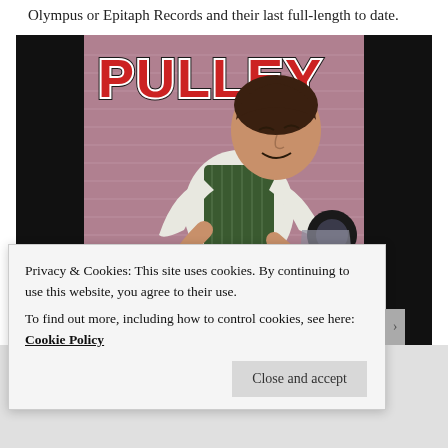Olympus or Epitaph Records and their last full-length to date.
[Figure (illustration): Album cover for Pulley showing a vintage illustration of a young boy leaning over a record player (turntable) with vinyl records, with the word PULLEY in large red and white letters with black outline at the top left.]
Privacy & Cookies: This site uses cookies. By continuing to use this website, you agree to their use.
To find out more, including how to control cookies, see here: Cookie Policy
Close and accept